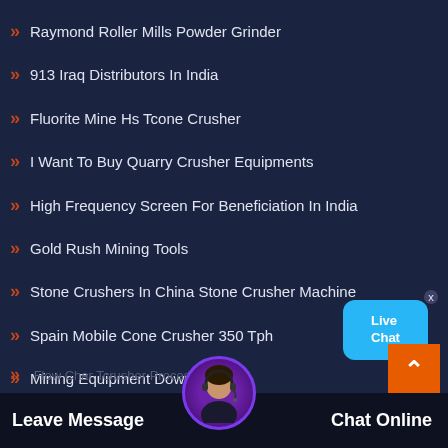Raymond Roller Mills Powder Grinder
913 Iraq Distributors In India
Fluorite Mine Hs Tcone Crusher
I Want To Buy Quarry Crusher Equipments
High Frequency Screen For Beneficiation In India
Gold Rush Mining Tools
Stone Crushers In China Stone Crusher Machine
Spain Mobile Cone Crusher 350 Tph
Mining Equipment Download
[Figure (illustration): Live Chat bubble widget with blue speech bubble and 'Live Chat' text, with close X button]
[Figure (illustration): Back to top orange button with upward arrow]
Leave Message   Chat Online
Flow Char Tcrusher Process